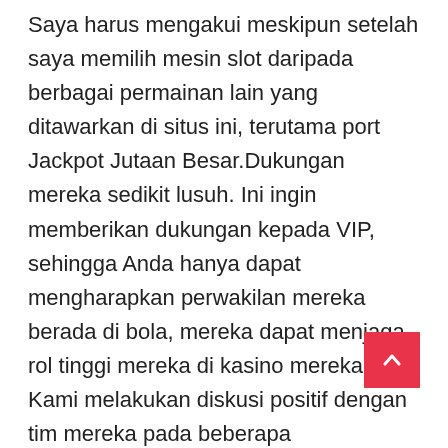Saya harus mengakui meskipun setelah saya memilih mesin slot daripada berbagai permainan lain yang ditawarkan di situs ini, terutama port Jackpot Jutaan Besar.Dukungan mereka sedikit lusuh. Ini ingin memberikan dukungan kepada VIP, sehingga Anda hanya dapat mengharapkan perwakilan mereka berada di bola, mereka dapat menjaga rol tinggi mereka di kasino mereka. Kami melakukan diskusi positif dengan tim mereka pada beberapa kesempatan, dan kami tidak pernah benar-benar harus mencoba untuk mentransfer perwakilan yang berbeda. Staf mereka ramah dan berpengetahuan luas dari layanan besar. Kami pasti akan merekomendasikan OnB kepada seseorang.Ketiga, memilih strate tetap berjalan tanpa sepatu lari. Meskipun mungkin ada banyak strategi yang dapat